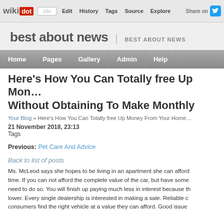wikidot | site Edit History Tags Source Explore Share on [Twitter]
best about news | BEST ABOUT NEWS
Home Pages Gallery Admin Help
Here's How You Can Totally free Up Money From Your Home Without Obtaining To Make Monthly
Your Blog » Here's How You Can Totally free Up Money From Your Home
21 November 2018, 23:13
Tags
Previous: Pet Care And Advice
Back to list of posts
Ms. McLeod says she hopes to be living in an apartment she can afford time. If you can not afford the complete value of the car, but have some need to do so. You will finish up paying much less in interest because th lower. Every single dealership is interested in making a sale. Reliable c consumers find the right vehicle at a value they can afford. Good issue